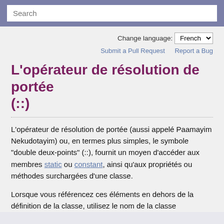Search
Change language: French
Submit a Pull Request   Report a Bug
L'opérateur de résolution de portée (::)
L'opérateur de résolution de portée (aussi appelé Paamayim Nekudotayim) ou, en termes plus simples, le symbole "double deux-points" (::), fournit un moyen d'accéder aux membres static ou constant, ainsi qu'aux propriétés ou méthodes surchargées d'une classe.
Lorsque vous référencez ces éléments en dehors de la définition de la classe, utilisez le nom de la classe